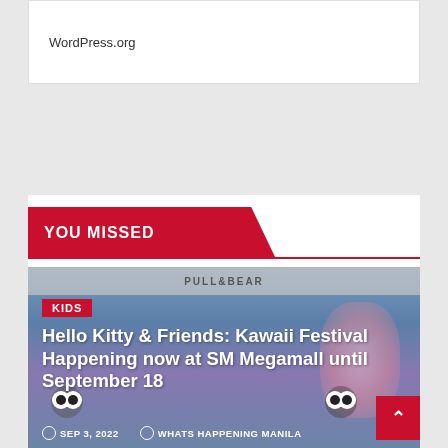WordPress.org
YOU MISSED
[Figure (photo): Photo of Hello Kitty & Friends Kawaii Festival at SM Megamall with costumed characters, cherry blossoms, and PULL&BEAR store in background]
KIDS
Hello Kitty & Friends: Kawaii Festival Happening now at SM Megamall until September 18
SEP 3, 2022  WHATS HAPPENING MANILA